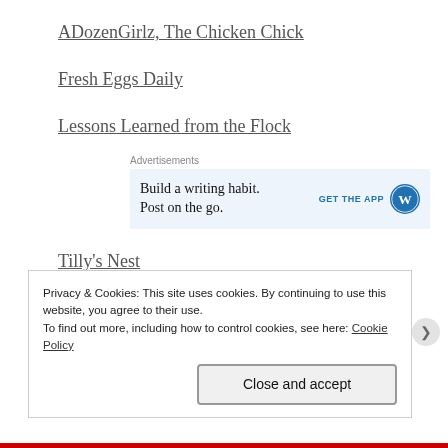ADozenGirlz, The Chicken Chick
Fresh Eggs Daily
Lessons Learned from the Flock
[Figure (screenshot): Advertisement banner: 'Build a writing habit. Post on the go.' with 'GET THE APP' and WordPress logo]
Tilly's Nest
Privacy & Cookies: This site uses cookies. By continuing to use this website, you agree to their use. To find out more, including how to control cookies, see here: Cookie Policy
Close and accept